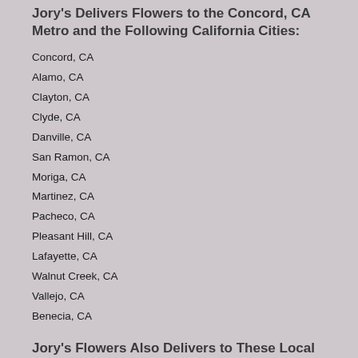Jory's Delivers Flowers to the Concord, CA Metro and the Following California Cities:
Concord, CA
Alamo, CA
Clayton, CA
Clyde, CA
Danville, CA
San Ramon, CA
Moriga, CA
Martinez, CA
Pacheco, CA
Pleasant Hill, CA
Lafayette, CA
Walnut Creek, CA
Vallejo, CA
Benecia, CA
Jory's Flowers Also Delivers to These Local Zip Codes
94592